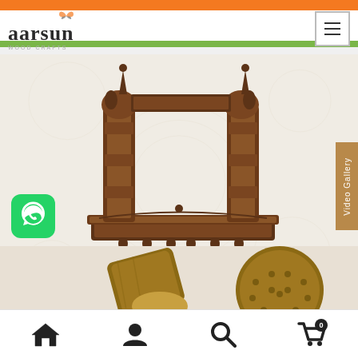[Figure (screenshot): Aarsun website header with orange-white-green gradient, Aarsun logo on the left and hamburger menu button on the right]
[Figure (photo): Wooden Jharokha (traditional Indian wall hanging/window frame) carved wood piece with ornate pillars and decorative base with hanging bells]
Jharokha
[Figure (photo): WhatsApp icon - green rounded square with white phone/chat icon]
[Figure (photo): Video Gallery tab on right side in brown/tan color]
[Figure (photo): Bottom strip showing wooden craft products - a wooden paddle/board and a round perforated wooden piece]
[Figure (screenshot): Bottom navigation bar with home, profile, search, and shopping cart icons]